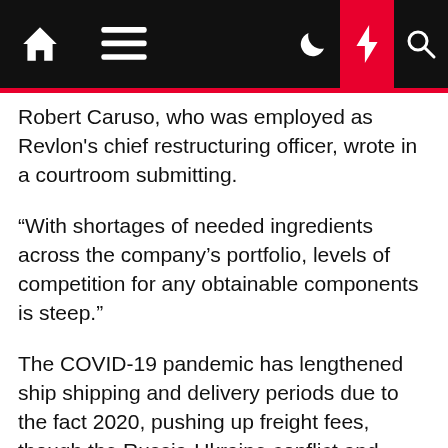Navigation bar with home, menu, dark mode, lightning, and search icons
Robert Caruso, who was employed as Revlon's chief restructuring officer, wrote in a courtroom submitting.
“With shortages of needed ingredients across the company’s portfolio, levels of competition for any obtainable components is steep.”
The COVID-19 pandemic has lengthened ship shipping and delivery periods due to the fact 2020, pushing up freight fees, though the Russia-Ukraine conflict and lockdowns in Shanghai have included to provide chain disruptions this year.
Shares in Revlon fell as a great deal as 44% on Thursday on the bankruptcy submitting before closing down 13%.
The shares had halved in industry worth concerning